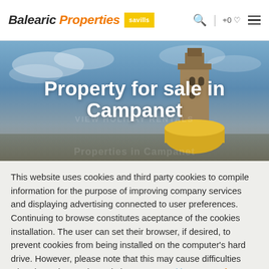Balearic Properties savills | +0 ♡ ≡
[Figure (photo): Hero image showing a church tower with yellow dome against a blue cloudy sky in Campanet, Mallorca]
Property for sale in Campanet
This website uses cookies and third party cookies to compile information for the purpose of improving company services and displaying advertising connected to user preferences. Continuing to browse constitutes aceptance of the cookies installation. The user can set their browser, if desired, to prevent cookies from being installed on the computer's hard drive. However, please note that this may cause difficulties when browsing on the website  Accept cookies  More Info